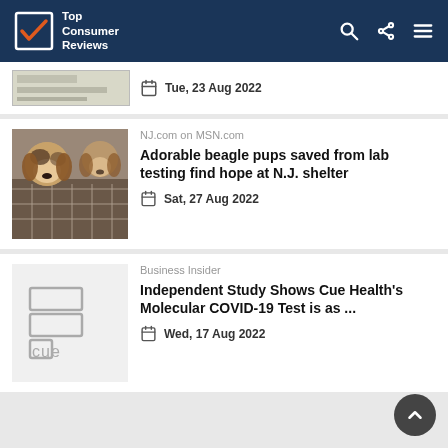[Figure (logo): Top Consumer Reviews logo in dark navy header with search, share, and menu icons]
[Figure (photo): Partial news item thumbnail with date: Tue, 23 Aug 2022]
[Figure (photo): Photo of beagle puppies in a cage or kennel]
NJ.com on MSN.com
Adorable beagle pups saved from lab testing find hope at N.J. shelter
Sat, 27 Aug 2022
[Figure (logo): Cue Health logo placeholder]
Business Insider
Independent Study Shows Cue Health's Molecular COVID-19 Test is as ...
Wed, 17 Aug 2022